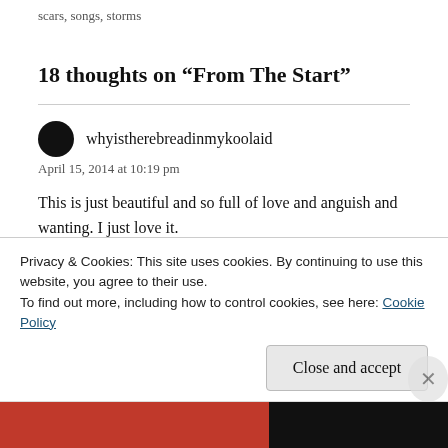scars, songs, storms
18 thoughts on “From The Start”
whyistherebreadinmykoolaid
April 15, 2014 at 10:19 pm
This is just beautiful and so full of love and anguish and wanting. I just love it.
★ Like
Privacy & Cookies: This site uses cookies. By continuing to use this website, you agree to their use.
To find out more, including how to control cookies, see here: Cookie Policy
Close and accept